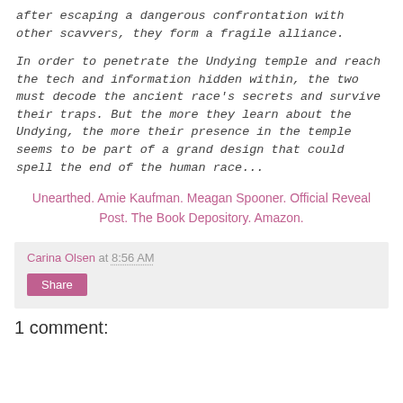after escaping a dangerous confrontation with other scavvers, they form a fragile alliance.
In order to penetrate the Undying temple and reach the tech and information hidden within, the two must decode the ancient race's secrets and survive their traps. But the more they learn about the Undying, the more their presence in the temple seems to be part of a grand design that could spell the end of the human race...
Unearthed. Amie Kaufman. Meagan Spooner. Official Reveal Post. The Book Depository. Amazon.
Carina Olsen at 8:56 AM
Share
1 comment: